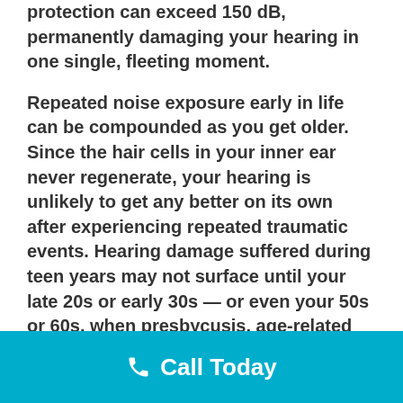protection can exceed 150 dB, permanently damaging your hearing in one single, fleeting moment.
Repeated noise exposure early in life can be compounded as you get older. Since the hair cells in your inner ear never regenerate, your hearing is unlikely to get any better on its own after experiencing repeated traumatic events. Hearing damage suffered during teen years may not surface until your late 20s or early 30s — or even your 50s or 60s, when presbycusis, age-related deterioration of hearing, becomes a greater factor.
Hearing protection prevents damaging noise
Call Today